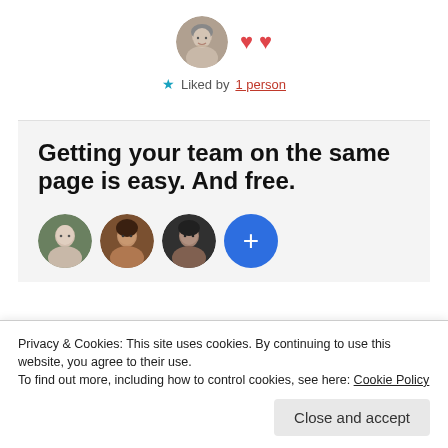[Figure (photo): Circular avatar of a woman with short gray hair and glasses, with two red heart icons beside her]
★ Liked by 1 person
Getting your team on the same page is easy. And free.
[Figure (photo): Three circular profile photos of people and a blue plus button circle]
Privacy & Cookies: This site uses cookies. By continuing to use this website, you agree to their use.
To find out more, including how to control cookies, see here: Cookie Policy
Close and accept